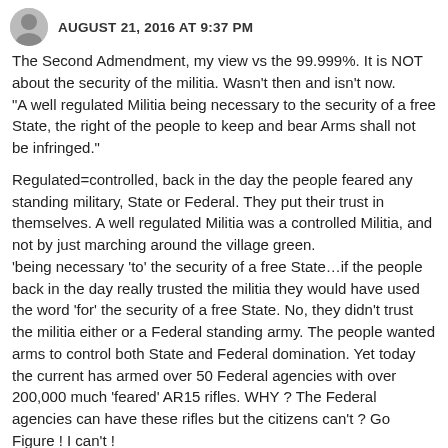AUGUST 21, 2016 AT 9:37 PM
The Second Admendment, my view vs the 99.999%. It is NOT about the security of the militia. Wasn't then and isn't now. “A well regulated Militia being necessary to the security of a free State, the right of the people to keep and bear Arms shall not be infringed.”
Regulated=controlled, back in the day the people feared any standing military, State or Federal. They put their trust in themselves. A well regulated Militia was a controlled Militia, and not by just marching around the village green. ‘being necessary ‘to’ the security of a free State…if the people back in the day really trusted the militia they would have used the word ‘for’ the security of a free State. No, they didn’t trust the militia either or a Federal standing army. The people wanted arms to control both State and Federal domination. Yet today the current has armed over 50 Federal agencies with over 200,000 much ‘feared’ AR15 rifles. WHY ? The Federal agencies can have these rifles but the citizens can’t ? Go Figure ! I can’t !
JCITIZEN